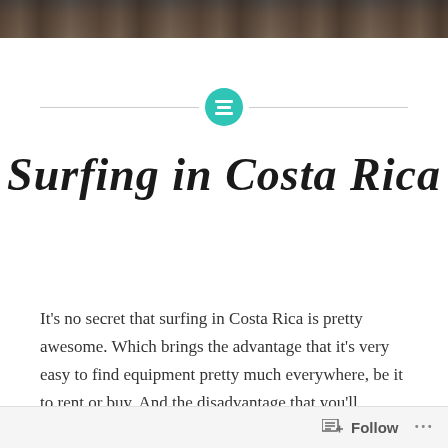[Figure (photo): Dark textured photo strip at the top of the page showing a rocky or earthy surface]
[Figure (other): Teal/turquoise circle with a menu/list icon centered on a horizontal divider line]
Surfing in Costa Rica
It’s no secret that surfing in Costa Rica is pretty awesome. Which brings the advantage that it’s very easy to find equipment pretty much everywhere, be it to rent or buy. And the disadvantage that you’ll usually
Follow ...